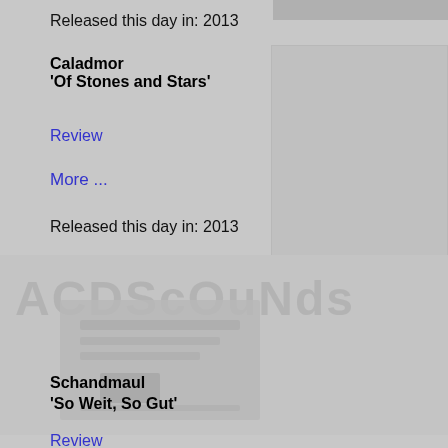Released this day in: 2013
Caladmor
'Of Stones and Stars'
Review
More ...
Released this day in: 2013
[Figure (photo): Album cover image watermark area with faded text overlay]
Schandmaul
'So Weit, So Gut'
Review